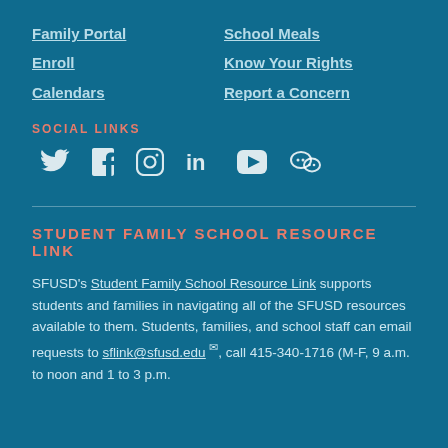Family Portal
Enroll
Calendars
School Meals
Know Your Rights
Report a Concern
SOCIAL LINKS
[Figure (infographic): Social media icons: Twitter, Facebook, Instagram, LinkedIn, YouTube, WeChat]
STUDENT FAMILY SCHOOL RESOURCE LINK
SFUSD's Student Family School Resource Link supports students and families in navigating all of the SFUSD resources available to them. Students, families, and school staff can email requests to sflink@sfusd.edu, call 415-340-1716 (M-F, 9 a.m. to noon and 1 to 3 p.m.